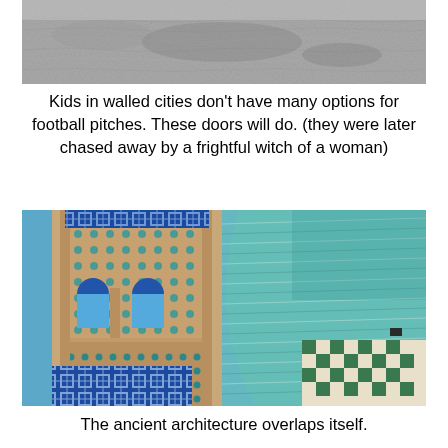[Figure (photo): Black and white photograph showing a textured surface, likely a ground or wall with rippled/cobblestone texture]
Kids in walled cities don't have many options for football pitches. These doors will do. (they were later chased away by a frightful witch of a woman)
[Figure (photo): Color photograph of ancient Islamic architecture showing a minaret tower covered in turquoise and green geometric tile patterns, with a large dome also featuring intricate tilework in teal and cream colors]
The ancient architecture overlaps itself.